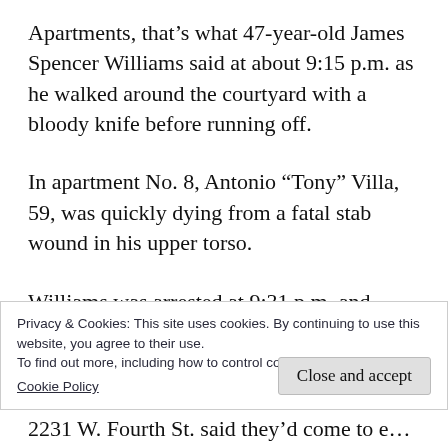Apartments, that's what 47-year-old James Spencer Williams said at about 9:15 p.m. as he walked around the courtyard with a bloody knife before running off.
In apartment No. 8, Antonio “Tony” Villa, 59, was quickly dying from a fatal stab wound in his upper torso.
Williams was arrested at 9:31 p.m. and charged with murder.
Privacy & Cookies: This site uses cookies. By continuing to use this website, you agree to their use.
To find out more, including how to control cookies, see here: Cookie Policy
2231 W. Fourth St. said they’d come to expect.